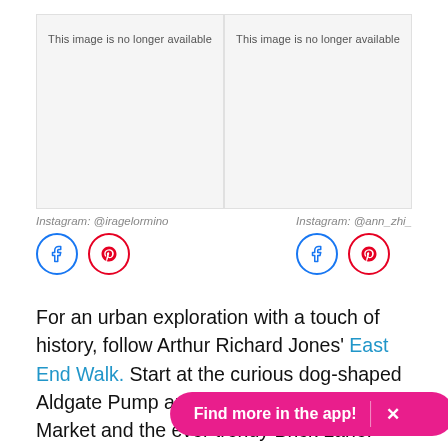[Figure (photo): Image placeholder - This image is no longer available (left)]
[Figure (photo): Image placeholder - This image is no longer available (right)]
Instagram: @iragelormino
Instagram: @ann_zhi_
For an urban exploration with a touch of history, follow Arthur Richard Jones' East End Walk. Start at the curious dog-shaped Aldgate Pump and discover Leadenhall Market and the ever trendy Brick Lane.
8. London
Find more in the app!